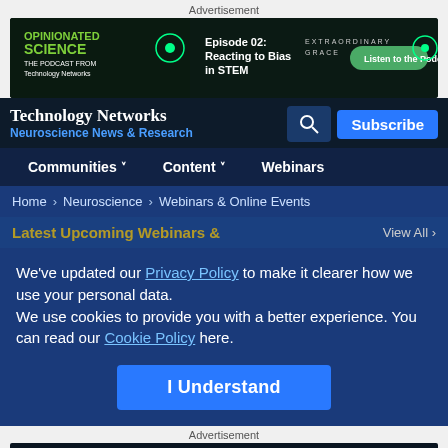Advertisement
[Figure (screenshot): Opinionated Science podcast ad banner - Episode 02: Reacting to Bias in STEM, Extraordinary Grace, Listen to the Podcast button]
[Figure (screenshot): Technology Networks navigation bar with Neuroscience News & Research subtitle, search icon, and Subscribe button]
Communities  Content  Webinars
Home > Neuroscience > Webinars & Online Events
Latest Upcoming Webinars &   View All
We've updated our Privacy Policy to make it clearer how we use your personal data.
We use cookies to provide you with a better experience. You can read our Cookie Policy here.
I Understand
Advertisement
[Figure (screenshot): Somalogic ad banner - Pioneer with 7,000 proteins]